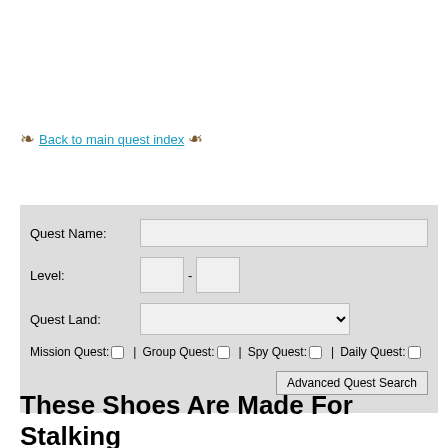↩ Back to main quest index ↪
[Figure (screenshot): Advanced quest search form with fields for Quest Name, Level range, Quest Land dropdown, and checkboxes for Mission Quest, Group Quest, Spy Quest, Daily Quest, plus Advanced Quest Search button]
These Shoes Are Made For Stalking